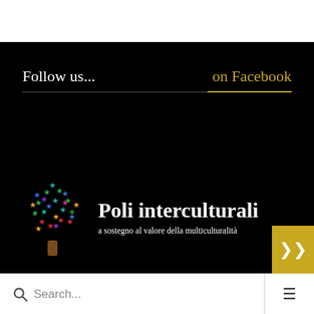Follow us...
on Facebook
[Figure (logo): Colorful tree logo made of multi-colored star/people shapes on a black background, with a brown trunk]
Poli interculturali
a sostegno al valore della multiculturalità
Search...